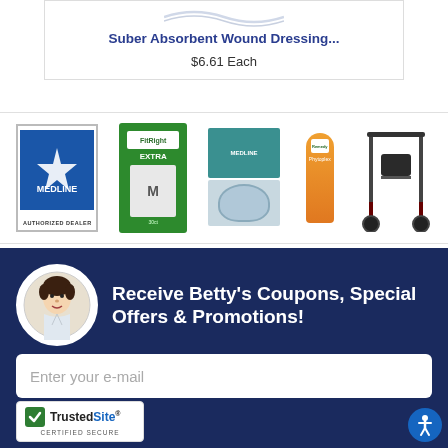Suber Absorbent Wound Dressing...
$6.61 Each
[Figure (photo): Medline Authorized Dealer banner with product images: FitRight Extra adult briefs, Medline gloves box, wound care product, Remedy Phytoplex moisturizer tube, and a rollator walker]
[Figure (logo): Betty Mills lady logo in oval frame]
Receive Betty's Coupons, Special Offers & Promotions!
Enter your e-mail
[Figure (logo): TrustedSite Certified Secure badge with green checkmark]